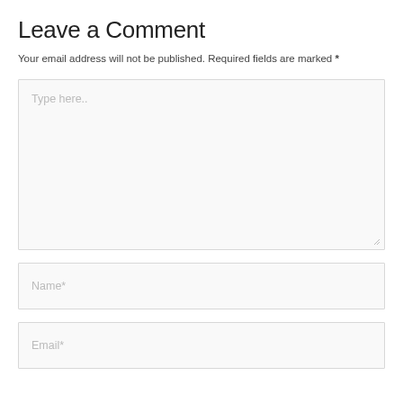Leave a Comment
Your email address will not be published. Required fields are marked *
[Figure (other): Large text area input box with placeholder text 'Type here..' and resize handle at bottom right]
[Figure (other): Single-line text input box with placeholder text 'Name*']
[Figure (other): Single-line text input box with placeholder text 'Email*']